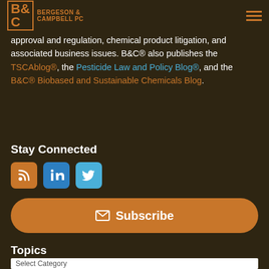Bergeson & Campbell, PC, a Washington, D.C. law firm
approval and regulation, chemical product litigation, and associated business issues. B&C® also publishes the TSCAblog®, the Pesticide Law and Policy Blog®, and the B&C® Biobased and Sustainable Chemicals Blog.
Stay Connected
[Figure (other): Social media icons: RSS feed (orange), LinkedIn (blue), Twitter (light blue)]
Subscribe
Topics
Select Category